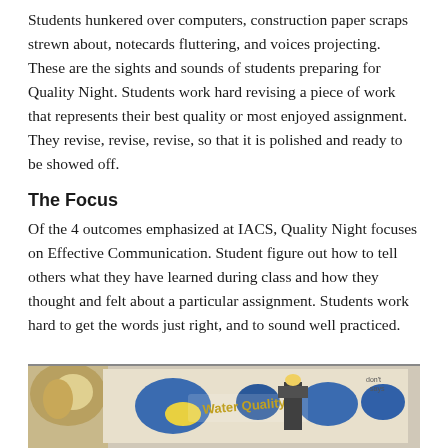Students hunkered over computers, construction paper scraps strewn about, notecards fluttering, and voices projecting. These are the sights and sounds of students preparing for Quality Night. Students work hard revising a piece of work that represents their best quality or most enjoyed assignment. They revise, revise, revise, so that it is polished and ready to be showed off.
The Focus
Of the 4 outcomes emphasized at IACS, Quality Night focuses on Effective Communication. Student figure out how to tell others what they have learned during class and how they thought and felt about a particular assignment. Students work hard to get the words just right, and to sound well practiced.
[Figure (photo): A photograph showing students working on a project, with a blue and yellow display board visible that reads 'Water Quality'.]